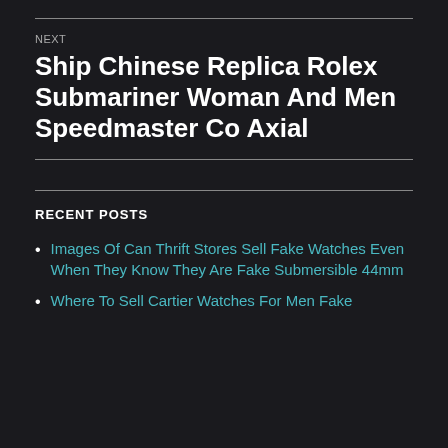NEXT
Ship Chinese Replica Rolex Submariner Woman And Men Speedmaster Co Axial
RECENT POSTS
Images Of Can Thrift Stores Sell Fake Watches Even When They Know They Are Fake Submersible 44mm
Where To Sell Cartier Watches For Men Fake